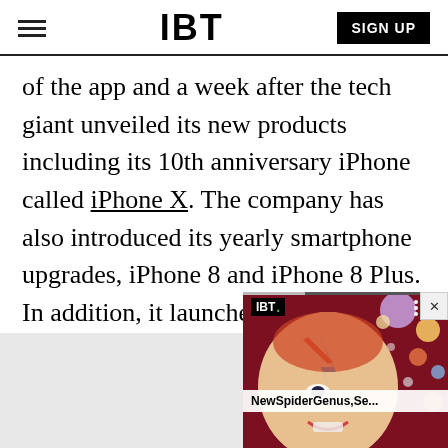IBT  SIGN UP
of the app and a week after the tech giant unveiled its new products including its 10th anniversary iPhone called iPhone X. The company has also introduced its yearly smartphone upgrades, iPhone 8 and iPhone 8 Plus. In addition, it launched the Apple Watch Series 3, Apple TV 4K and the slightly upgraded AirPods.
[Figure (screenshot): IBT video widget showing a person with colorful face paint and space/planet imagery in the background, with title 'NewSpiderGenus,Se...' and IBT logo. Has a close (X) button in top right and a progress bar at top.]